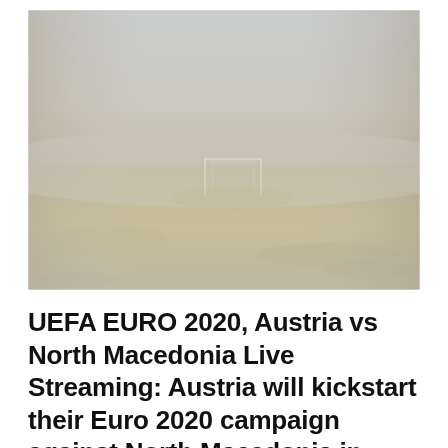[Figure (photo): A foggy field with a football goal barely visible through the mist. The foreground shows dry golden grass, while the background fades into a pale grey fog. A white rectangular football goal stands in the middle distance, barely discernible through the haze.]
UEFA EURO 2020, Austria vs North Macedonia Live Streaming: Austria will kickstart their Euro 2020 campaign against North Macedonia in Group C on Sunday